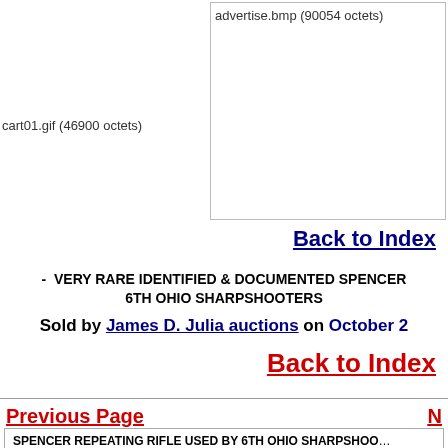[Figure (other): Broken image placeholder for advertise.bmp (90054 octets)]
[Figure (other): Broken image placeholder for cart01.gif (46900 octets)]
Back to Index
- VERY RARE IDENTIFIED & DOCUMENTED SPENCER 6TH OHIO SHARPSHOOTERS
Sold by James D. Julia auctions on October 2
Back to Index
Previous Page
N
SPENCER REPEATING RIFLE USED BY 6TH OHIO SHARPSHOOTERS. This extraordinarily rare rifle has 30" rnd bbl, square base front sight w ... 600 rnd Spencer. holds rear sight with tension spring. It has the ...